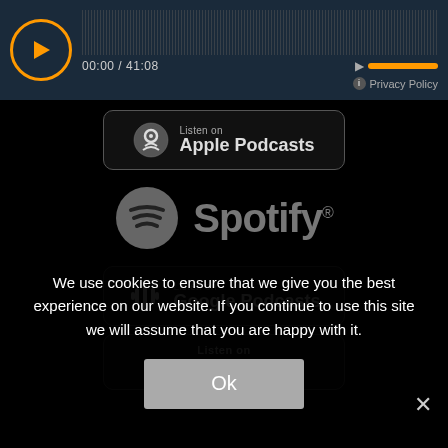[Figure (screenshot): Audio player bar with play button, waveform, time display 00:00 / 41:08, volume control with orange bar, and Privacy Policy link]
[Figure (logo): Listen on Apple Podcasts badge button]
[Figure (logo): Spotify logo with circular icon and wordmark]
[Figure (logo): Listen on Google Podcasts badge button]
[Figure (logo): Listen on Amazon Music badge button]
We use cookies to ensure that we give you the best experience on our website. If you continue to use this site we will assume that you are happy with it.
Ok